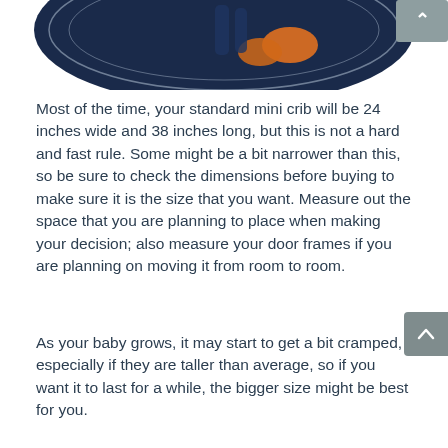[Figure (illustration): Partial illustration showing a dark navy circular surface/mat with an orange figure (baby or person) visible from above, cropped at top of page]
Most of the time, your standard mini crib will be 24 inches wide and 38 inches long, but this is not a hard and fast rule. Some might be a bit narrower than this, so be sure to check the dimensions before buying to make sure it is the size that you want. Measure out the space that you are planning to place when making your decision; also measure your door frames if you are planning on moving it from room to room.
As your baby grows, it may start to get a bit cramped, especially if they are taller than average, so if you want it to last for a while, the bigger size might be best for you.